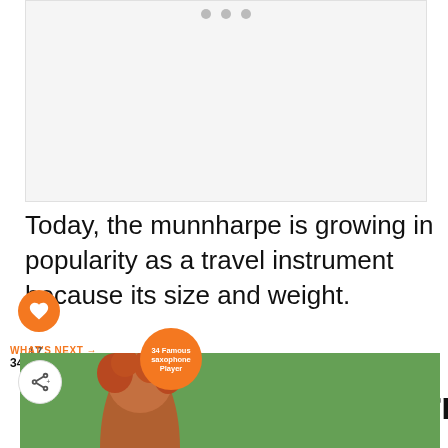[Figure (other): Advertisement placeholder with light gray background and three dots at top indicating a carousel ad unit]
Today, the munnharpe is growing in popularity as a travel instrument because its size and weight.
6. Bukkehorn (goat horn)
[Figure (photo): Woman with curly red hair photographed outdoors with green trees in the background]